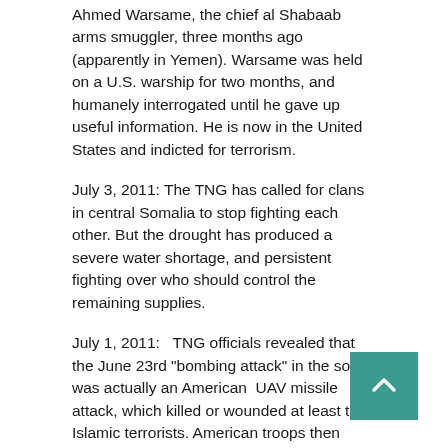Ahmed Warsame, the chief al Shabaab arms smuggler, three months ago (apparently in Yemen). Warsame was held on a U.S. warship for two months, and humanely interrogated until he gave up useful information. He is now in the United States and indicted for terrorism.
July 3, 2011: The TNG has called for clans in central Somalia to stop fighting each other. But the drought has produced a severe water shortage, and persistent fighting over who should control the remaining supplies.
July 1, 2011:   TNG officials revealed that the June 23rd "bombing attack" in the south was actually an American  UAV missile attack, which killed or wounded at least ten Islamic terrorists. American troops then landed in a helicopter, and took two of the dead or wounded terrorists away. The U.S. had done this once before, in 2009, but that time